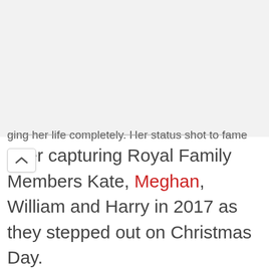ging her life completely. Her status shot to fame after capturing Royal Family Members Kate, Meghan, William and Harry in 2017 as they stepped out on Christmas Day.